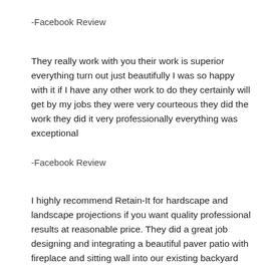-Facebook Review
They really work with you their work is superior everything turn out just beautifully I was so happy with it if I have any other work to do they certainly will get by my jobs they were very courteous they did the work they did it very professionally everything was exceptional
-Facebook Review
I highly recommend Retain-It for hardscape and landscape projections if you want quality professional results at reasonable price. They did a great job designing and integrating a beautiful paver patio with fireplace and sitting wall into our existing backyard landscape. They are very knowledgeable, responsive, and easy to work with